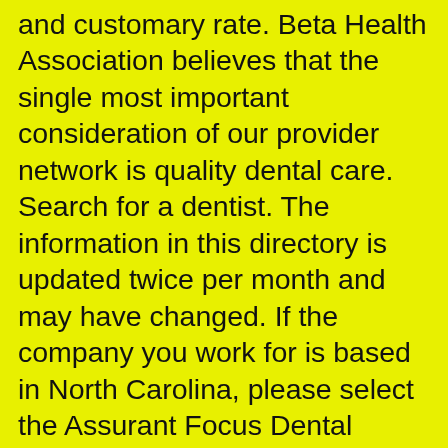and customary rate. Beta Health Association believes that the single most important consideration of our provider network is quality dental care. Search for a dentist. The information in this directory is updated twice per month and may have changed. If the company you work for is based in North Carolina, please select the Assurant Focus Dental Network®. Provider Relations. Extractions $10.00. Dependent children, up to age 26, can be added to a ... We also pride ourselves in providing outstanding service and support to our participating network dentists. Let's talk. Please know this is not a commitment to join but as a way to contact your office to discuss network participation. This plan offers the lowest out of pocket copays between our three California Dental Network plans. UHC advertises that its dental network includes more than 100,000 local and national dental providers. Provider Network. We contract with providers and facilities to form networks essential for delivery of dental services to our members. We are